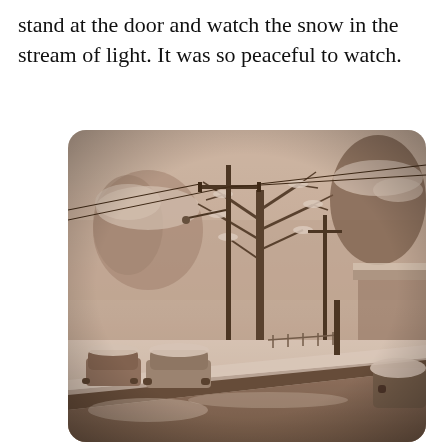stand at the door and watch the snow in the stream of light. It was so peaceful to watch.
[Figure (photo): A sepia-toned photograph of a snow-covered suburban street. Bare trees coated in snow line the road. Utility poles with power lines are visible. Parked cars sit along the left curb covered in snow. The sidewalk and road are blanketed in white snow. The scene has a peaceful, wintry atmosphere rendered in warm brown/sepia tones.]